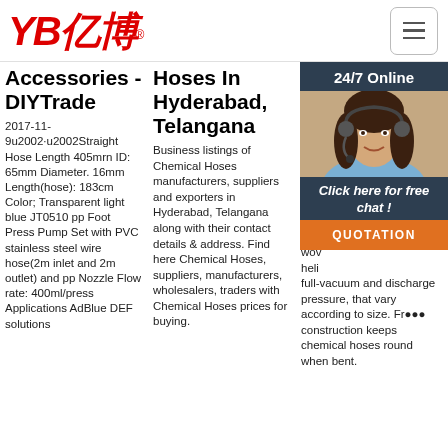[Figure (logo): YB亿博 logo in red italic bold text with registered trademark symbol]
[Figure (other): Hamburger menu icon (three horizontal lines) in a rounded rectangle border]
Accessories - DIYTrade
2017-11-9u2002·u2002Straight Hose Length 405mrn ID: 65mm Diameter. 16mm Length(hose): 183cm Color; Transparent light blue JT0510 pp Foot Press Pump Set with PVC stainless steel wire hose(2m inlet and 2m outlet) and pp Nozzle Flow rate: 400ml/press Applications AdBlue DEE solutions
Hoses In Hyderabad, Telangana
Business listings of Chemical Hoses manufacturers, suppliers and exporters in Hyderabad, Telangana along with their contact details & address. Find here Chemical Hoses, suppliers, manufacturers, wholesalers, traders with Chemical Hoses prices for buying.
Hose – Su Dis Ho All
Cor Hyp Rei Mul imp wov heli full-vacuum and discharge pressure, that vary according to size. Free construction keeps chemical hoses round when bent.
[Figure (photo): Chat widget with woman wearing headset, 24/7 Online header, Click here for free chat message, and QUOTATION button]